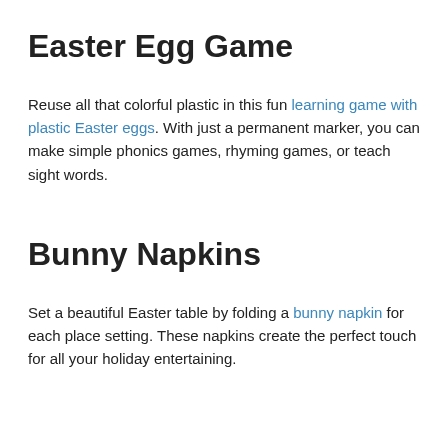Easter Egg Game
Reuse all that colorful plastic in this fun learning game with plastic Easter eggs. With just a permanent marker, you can make simple phonics games, rhyming games, or teach sight words.
Bunny Napkins
Set a beautiful Easter table by folding a bunny napkin for each place setting. These napkins create the perfect touch for all your holiday entertaining.